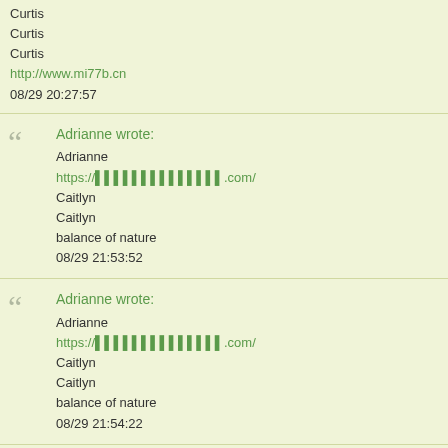Curtis
Curtis
Curtis
http://www.mi77b.cn
08/29 20:27:57
Adrianne wrote:
Adrianne
https://██████████████.com/
Caitlyn
Caitlyn
balance of nature
08/29 21:53:52
Adrianne wrote:
Adrianne
https://██████████████.com/
Caitlyn
Caitlyn
balance of nature
08/29 21:54:22
Adrianne wrote:
Adrianne
https://██████████████.com/
Caitlyn
Caitlyn
balance of nature
08/29 21:54:52
Avis wrote:
Avis
Iris